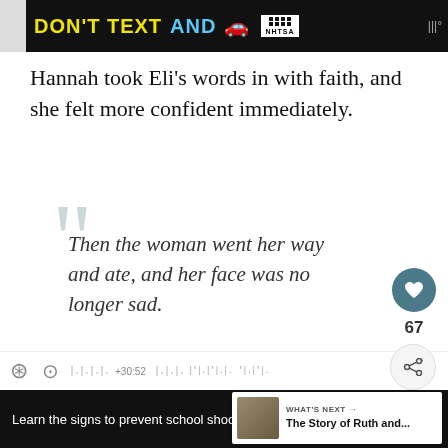[Figure (screenshot): NHTSA Don't Text and Drive advertisement banner, dark background with yellow and cyan text, red car icon, NHTSA logo]
Hannah took Eli’s words in with faith, and she felt more confident immediately.
Then the woman went her way and ate, and her face was no longer sad.
1 SAMUEL 1:18 (ESV)
[Figure (screenshot): What's Next panel showing The Story of Ruth and... with thumbnail image]
[Figure (screenshot): Bottom toolbar strip with icons]
[Figure (screenshot): Sandy Hook Promise advertisement banner - Learn the signs to prevent school shootings]